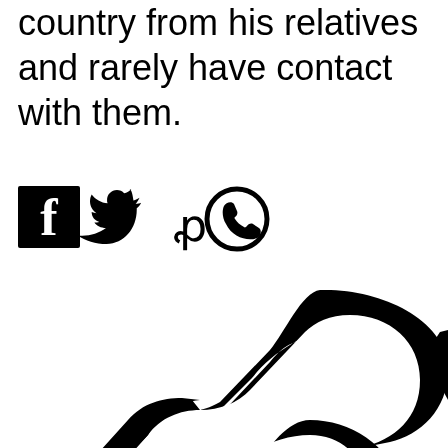country from his relatives and rarely have contact with them.
[Figure (illustration): Row of social media icons: Facebook (f in black square), Twitter (bird), Pinterest (p), WhatsApp (phone in circle)]
[Figure (logo): Large black chain link / infinity-style logo graphic, partially visible, cropped at bottom and right edges]